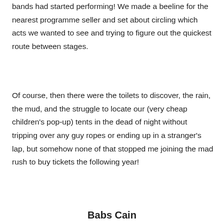bands had started performing! We made a beeline for the nearest programme seller and set about circling which acts we wanted to see and trying to figure out the quickest route between stages.
Of course, then there were the toilets to discover, the rain, the mud, and the struggle to locate our (very cheap children's pop-up) tents in the dead of night without tripping over any guy ropes or ending up in a stranger's lap, but somehow none of that stopped me joining the mad rush to buy tickets the following year!
Babs Cain